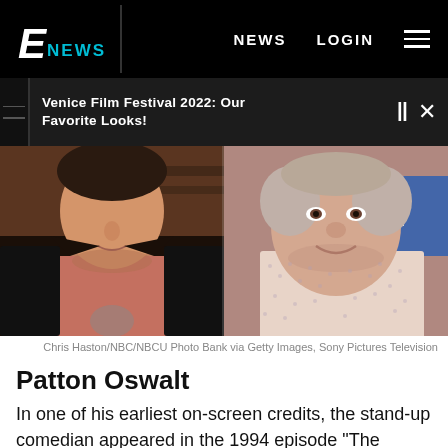E! NEWS   NEWS   LOGIN
Venice Film Festival 2022: Our Favorite Looks!
[Figure (photo): Side-by-side comparison photo: left shows a younger person in a dark jacket and pink shirt, right shows an older man in a patterned white shirt smiling, with a 'ELEVIS' banner visible in the background]
Chris Haston/NBC/NBCU Photo Bank via Getty Images, Sony Pictures Television
Patton Oswalt
In one of his earliest on-screen credits, the stand-up comedian appeared in the 1994 episode "The Couch"